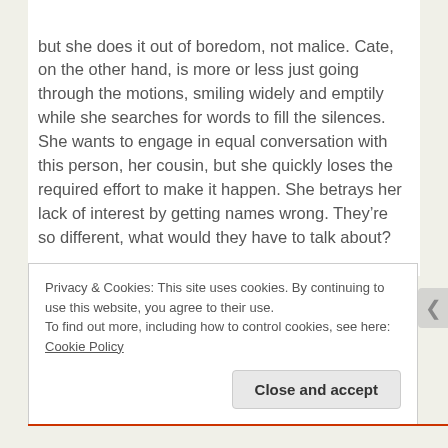but she does it out of boredom, not malice. Cate, on the other hand, is more or less just going through the motions, smiling widely and emptily while she searches for words to fill the silences. She wants to engage in equal conversation with this person, her cousin, but she quickly loses the required effort to make it happen. She betrays her lack of interest by getting names wrong. They’re so different, what would they have to talk about?
Privacy & Cookies: This site uses cookies. By continuing to use this website, you agree to their use.
To find out more, including how to control cookies, see here: Cookie Policy